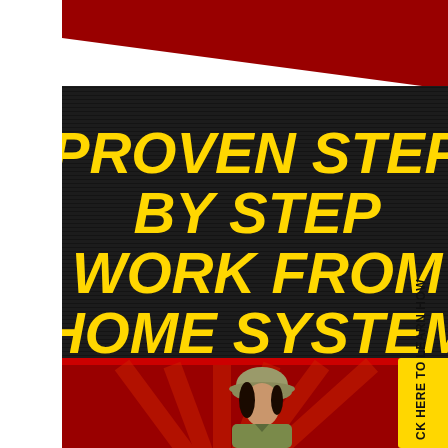[Figure (illustration): Advertising banner with dark background showing bold yellow italic text 'PROVEN STEP BY STEP WORK FROM HOME SYSTEM', a red background section below with an illustrated woman wearing military/camouflage outfit and helmet, and a yellow vertical CTA button reading 'CLICK HERE TO LEARN HOW']